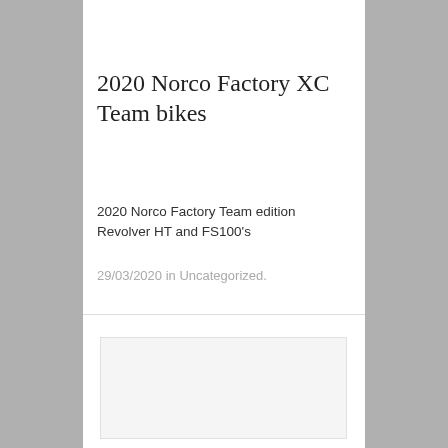[Figure (photo): Top portion of a cropped photo showing bicycle frame/tubes in grey and blue colors]
2020 Norco Factory XC Team bikes
2020 Norco Factory Team edition Revolver HT and FS100's
29/03/2020 in Uncategorized.
[Figure (photo): Placeholder image area for a second photo (blank/loading)]